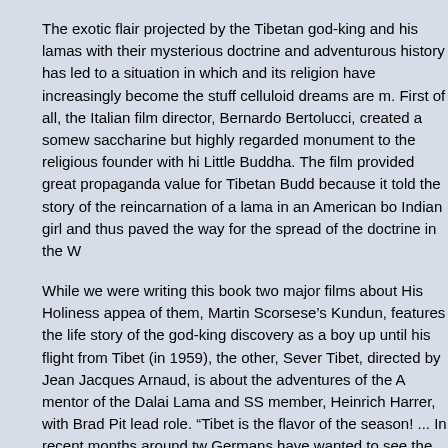The exotic flair projected by the Tibetan god-king and his lamas with their mysterious doctrine and adventurous history has led to a situation in which and its religion have increasingly become the stuff celluloid dreams are m. First of all, the Italian film director, Bernardo Bertolucci, created a somew saccharine but highly regarded monument to the religious founder with hi Little Buddha. The film provided great propaganda value for Tibetan Budd because it told the story of the reincarnation of a lama in an American bo Indian girl and thus paved the way for the spread of the doctrine in the W
While we were writing this book two major films about His Holiness appea of them, Martin Scorsese's Kundun, features the life story of the god-king discovery as a boy up until his flight from Tibet (in 1959), the other, Sever Tibet, directed by Jean Jacques Arnaud, is about the adventures of the A mentor of the Dalai Lama and SS member, Heinrich Harrer, with Brad Pit lead role. “Tibet is the flavor of the season! ... In recent months around tw Germans have wanted to see the teenage idol Brad Pitt as the Austrian a and Lama friend, Heinrich Harrer” the Spiegel enthused without once me Harrer’s SS past (Spiegel, 16/1998, p. 110).
Whilst filming, Brad Pitt experienced something like a mystic shiver: “And shot this scene where they are saying: 'Give the Dalai Lama the power!' I goes into this chant, and it was like something was going down and God shining through the clouds. It was heavy” (Newsweek, May 19, 1997, p. 2